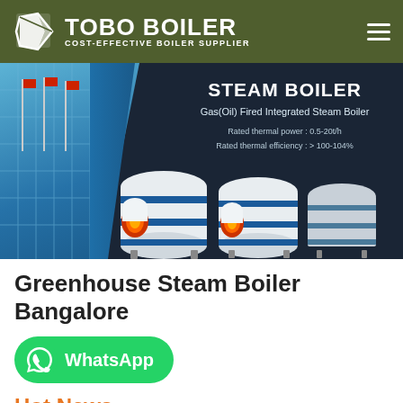[Figure (logo): TOBO BOILER logo with text 'COST-EFFECTIVE BOILER SUPPLIER' on dark olive green header bar with hamburger menu icon]
[Figure (photo): Hero banner showing steam boiler products on dark background with text: STEAM BOILER, Gas(Oil) Fired Integrated Steam Boiler, Rated thermal power: 0.5-20t/h, Rated thermal efficiency: >100-104%. Building with flags visible on left side.]
Greenhouse Steam Boiler Bangalore
[Figure (screenshot): WhatsApp button (green rounded rectangle) with WhatsApp icon and text 'WhatsApp']
Hot News